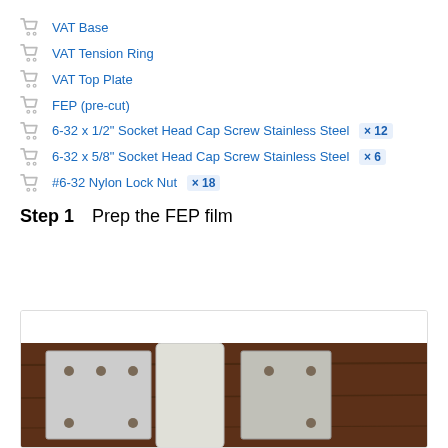VAT Base
VAT Tension Ring
VAT Top Plate
FEP (pre-cut)
6-32 x 1/2" Socket Head Cap Screw Stainless Steel × 12
6-32 x 5/8" Socket Head Cap Screw Stainless Steel × 6
#6-32 Nylon Lock Nut × 18
Step 1    Prep the FEP film
[Figure (photo): Photo showing pre-cut FEP film sheets and VAT plates laid out on a dark wood surface, with holes visible in the plates]